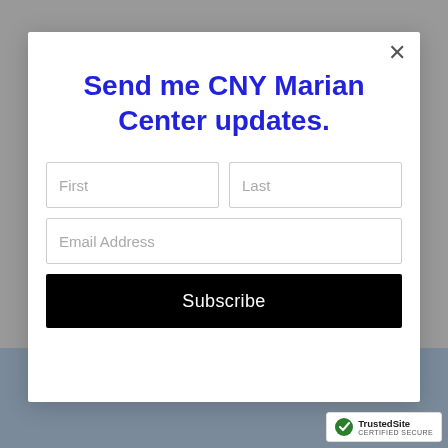[Figure (screenshot): Website screenshot with navigation hamburger menu at top left, blurred background content, and a modal popup overlay]
Send me CNY Marian Center updates.
First [input field]
Last [input field]
Email Address [input field]
Subscribe [button]
[Figure (logo): TrustedSite CERTIFIED SECURE badge]